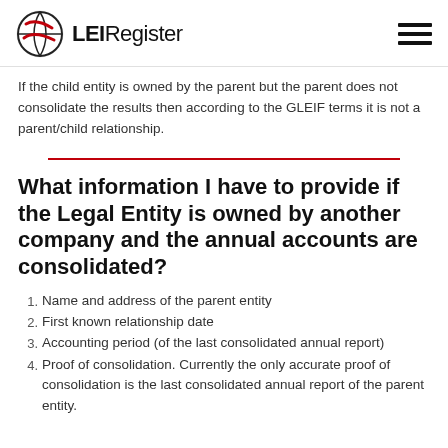LEIRegister
If the child entity is owned by the parent but the parent does not consolidate the results then according to the GLEIF terms it is not a parent/child relationship.
What information I have to provide if the Legal Entity is owned by another company and the annual accounts are consolidated?
Name and address of the parent entity
First known relationship date
Accounting period (of the last consolidated annual report)
Proof of consolidation. Currently the only accurate proof of consolidation is the last consolidated annual report of the parent entity.